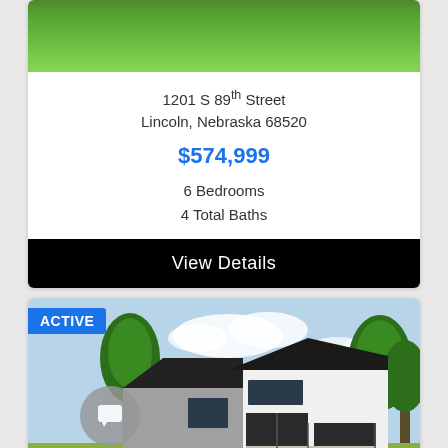[Figure (photo): Top portion of a property photo showing green grass/lawn]
1201 S 89th Street
Lincoln, Nebraska 68520
$574,999
6 Bedrooms
4 Total Baths
View Details
[Figure (photo): Modern house exterior rendering with white facade, dark roof, garage doors, trees; ACTIVE badge in upper left corner; chat bubble icon overlay]